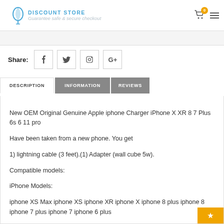DISCOUNT STORE — Guarantee safe & secure checkout
Share:
DESCRIPTION | INFORMATION | REVIEWS
New OEM Original Genuine Apple iphone Charger iPhone X XR 8 7 Plus 6s 6 11 pro Have been taken from a new phone. You get 1) lightning cable (3 feet).(1) Adapter (wall cube 5w). Compatible models: iPhone Models: iphone XS Max iphone XS iphone XR iphone X iphone 8 plus iphone 8 iphone 7 plus iphone 7 iphone 6 plus iPad Models